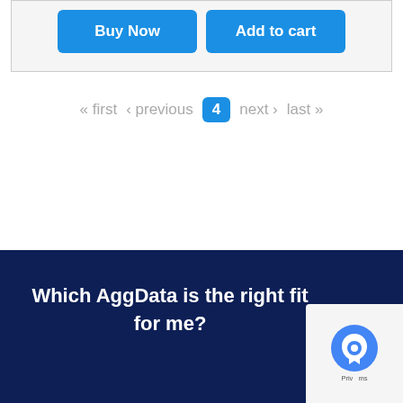[Figure (screenshot): Two blue buttons: 'Buy Now' and 'Add to cart' inside a light gray card area]
« first  ‹ previous  4  next ›  last »
Which AggData is the right fit for me?